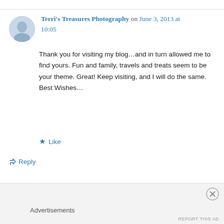Terri's Treasures Photography on June 3, 2013 at 10:05
Thank you for visiting my blog…and in turn allowed me to find yours. Fun and family, travels and treats seem to be your theme. Great! Keep visiting, and I will do the same.
Best Wishes…
★ Like
↳ Reply
Advertisements